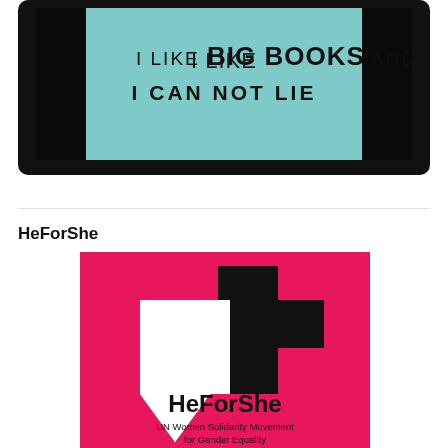[Figure (screenshot): A tablet or e-reader device displaying a teal/mint background with bold black text reading 'I LIKE BIG BOOKS AND I CAN NOT LIE']
HeForShe
[Figure (logo): HeForShe logo - a pink/magenta square background with a white and black gender symbol cross/plus design, with text 'HeForShe' in bold black and 'UN Women Solidarity Movement for Gender Equality' below in smaller text]